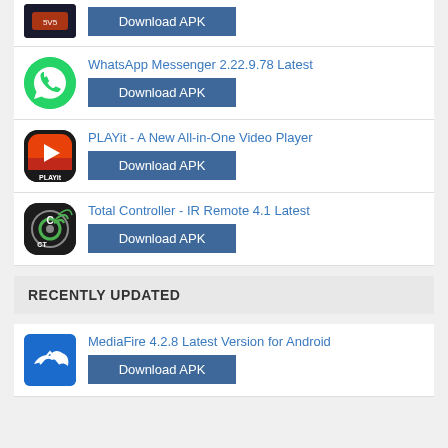[Figure (screenshot): Partial app listing row at top: car game icon (5v5 themed, dark blue) with Download APK button]
WhatsApp Messenger 2.22.9.78 Latest — Download APK
PLAYit - A New All-in-One Video Player — Download APK
Total Controller - IR Remote 4.1 Latest — Download APK
RECENTLY UPDATED
MediaFire 4.2.8 Latest Version for Android — Download APK